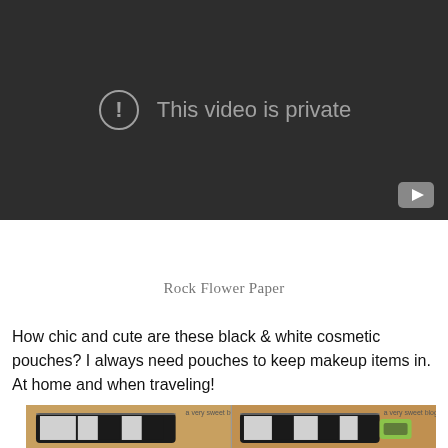[Figure (screenshot): Embedded video player with dark background showing 'This video is private' message with an exclamation circle icon and a YouTube play button in the bottom right corner.]
Rock Flower Paper
How chic and cute are these black & white cosmetic pouches? I always need pouches to keep makeup items in. At home and when traveling!
[Figure (photo): Two side-by-side photos of black and white patterned cosmetic pouches on a wooden surface, each watermarked 'a very sweet blog'.]